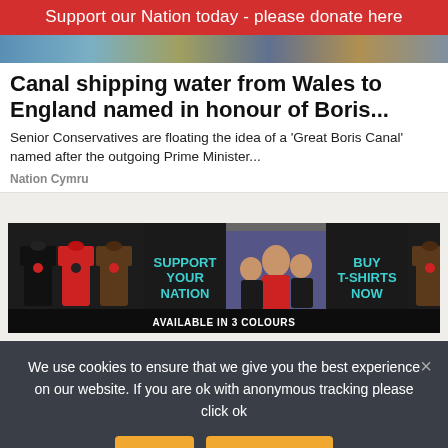Support our Nation today - please donate here
[Figure (photo): Hero image strip showing partial news article header images]
Canal shipping water from Wales to England named in honour of Boris...
Senior Conservatives are floating the idea of a 'Great Boris Canal' named after the outgoing Prime Minister...
Nation Cymru
[Figure (infographic): Advertisement banner: Support Your Nation - Buy T-Shirts Now - Available in 3 colours. Shows people wearing Nation Cymru branded t-shirts in black, red, and brown colours.]
We use cookies to ensure that we give you the best experience on our website. If you are ok with anonymous tracking please click ok
Ok
Privacy policy